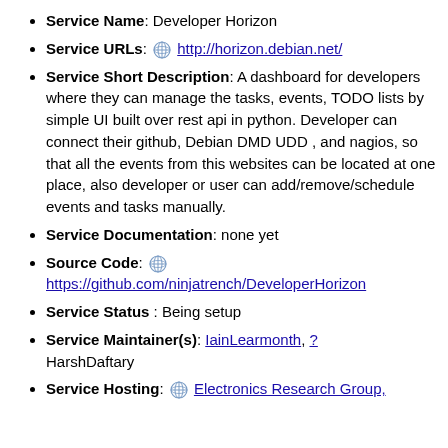Service Name: Developer Horizon
Service URLs: http://horizon.debian.net/
Service Short Description: A dashboard for developers where they can manage the tasks, events, TODO lists by simple UI built over rest api in python. Developer can connect their github, Debian DMD UDD , and nagios, so that all the events from this websites can be located at one place, also developer or user can add/remove/schedule events and tasks manually.
Service Documentation: none yet
Source Code: https://github.com/ninjatrench/DeveloperHorizon
Service Status : Being setup
Service Maintainer(s): IainLearmonth, ? HarshDaftary
Service Hosting: Electronics Research Group,